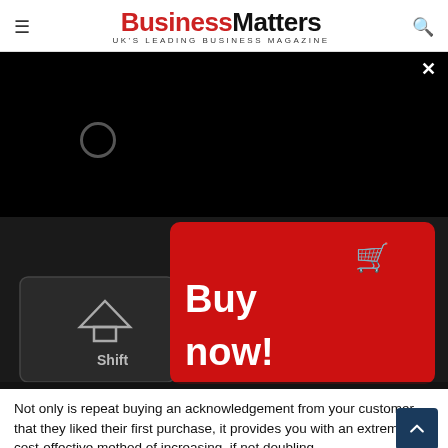Business Matters — UK'S LEADING BUSINESS MAGAZINE
[Figure (photo): Black overlay/ad loading panel with a circular spinner and an X close button in the top right corner]
[Figure (photo): Close-up photo of a keyboard showing a red 'Buy now!' key with a shopping cart icon, and a Shift key beside it]
Not only is repeat buying an acknowledgement from your customer that they liked their first purchase, it provides you with an extremely cost-effective method of increasing, if not doubling,